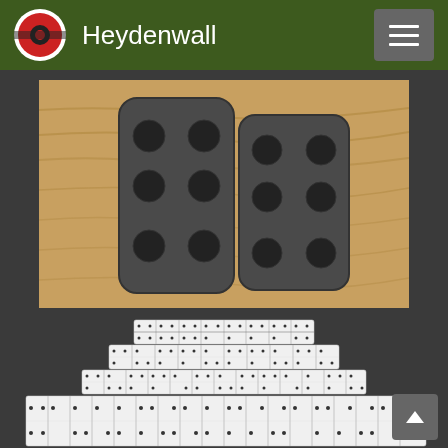Heydenwall
[Figure (photo): Photo of two dark metal pedal covers with circular holes, placed on a wooden surface. The pedals are dark gray/black in color with multiple circular cutouts arranged in a pattern.]
[Figure (photo): Pyramid-shaped arrangement of white dominoes stacked in ascending tiers, forming a stepped pyramid structure. The dominoes show various dot patterns on their faces.]